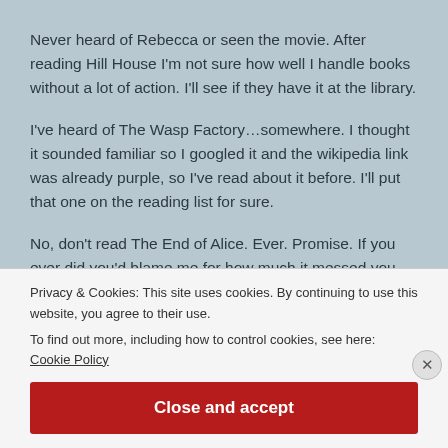Never heard of Rebecca or seen the movie. After reading Hill House I'm not sure how well I handle books without a lot of action. I'll see if they have it at the library.
I've heard of The Wasp Factory…somewhere. I thought it sounded familiar so I googled it and the wikipedia link was already purple, so I've read about it before. I'll put that one on the reading list for sure.
No, don't read The End of Alice. Ever. Promise. If you ever did you'd blame me for how much it messed you up.
Privacy & Cookies: This site uses cookies. By continuing to use this website, you agree to their use.
To find out more, including how to control cookies, see here: Cookie Policy
Close and accept